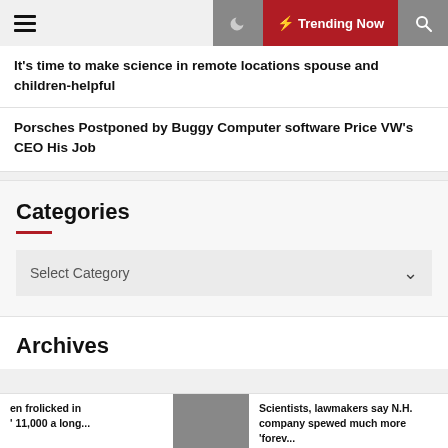Trending Now
It’s time to make science in remote locations spouse and children-helpful
Porsches Postponed by Buggy Computer software Price VW’s CEO His Job
Categories
Select Category
Archives
en frolicked in ’ 11,000 a long...
Scientists, lawmakers say N.H. company spewed much more ‘forev...